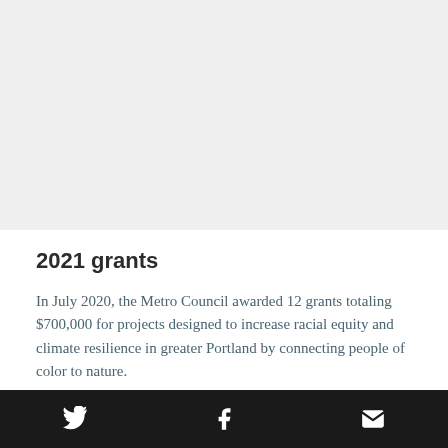[Figure (photo): Large image area (appears blank/light gray in this crop — upper portion of page showing an image)]
2021 grants
In July 2020, the Metro Council awarded 12 grants totaling $700,000 for projects designed to increase racial equity and climate resilience in greater Portland by connecting people of color to nature.
Social media icons: Twitter, Facebook, Email